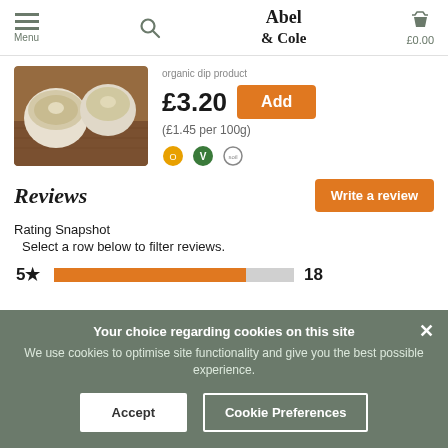Menu | Abel & Cole | £0.00
[Figure (photo): Food product photo showing dips/spreads in round containers on a wooden surface]
£3.20
(£1.45 per 100g)
Reviews
Rating Snapshot
Select a row below to filter reviews.
5★ 18
Your choice regarding cookies on this site
We use cookies to optimise site functionality and give you the best possible experience.